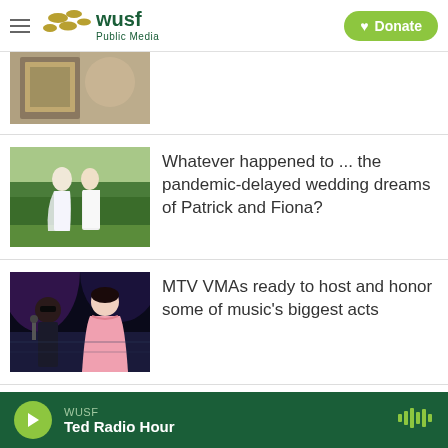WUSF Public Media — Donate
[Figure (photo): Partial image of person holding a framed item]
[Figure (photo): Couple in wedding attire standing in front of green hedge]
Whatever happened to ... the pandemic-delayed wedding dreams of Patrick and Fiona?
[Figure (photo): Two artists at MTV VMAs, one in black and one in pink dress]
MTV VMAs ready to host and honor some of music's biggest acts
[Figure (photo): Partial image of another news story]
WUSF — Ted Radio Hour